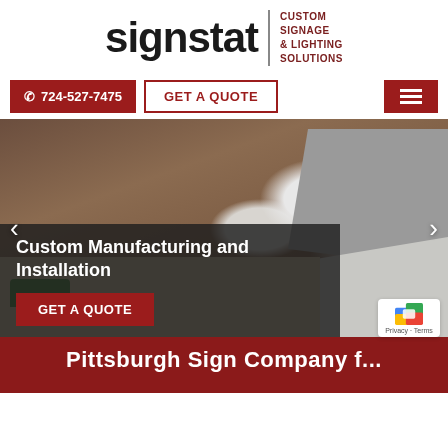[Figure (logo): Signstat logo with bold 'signstat' text and tagline 'CUSTOM SIGNAGE & LIGHTING SOLUTIONS']
724-527-7475
GET A QUOTE
[Figure (photo): Aerial photo of a building with snow-dusted roof, parking area, and surrounding snowy ground with a green vehicle visible]
Custom Manufacturing and Installation
GET A QUOTE
Pittsburgh Sign Company f...